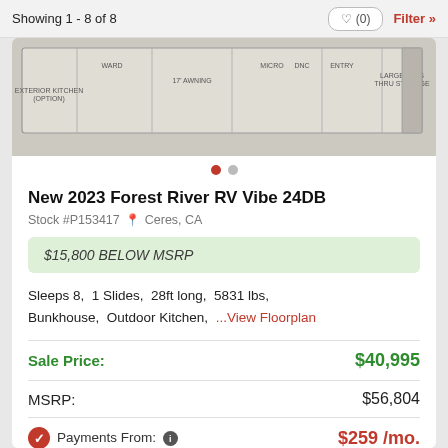Showing 1 - 8 of 8
[Figure (schematic): RV floorplan diagram showing exterior kitchen option, 17' awning, large pass-thru storage, micro, DNC, ENTRY labels]
Stock #P153417  Ceres, CA
New 2023 Forest River RV Vibe 24DB
$15,800 BELOW MSRP
Sleeps 8,  1 Slides,  28ft long,  5831 lbs,  Bunkhouse,  Outdoor Kitchen,  ...View Floorplan
| Label | Value |
| --- | --- |
| Sale Price: | $40,995 |
| MSRP: | $56,804 |
| Payments From: | $259 /mo. |